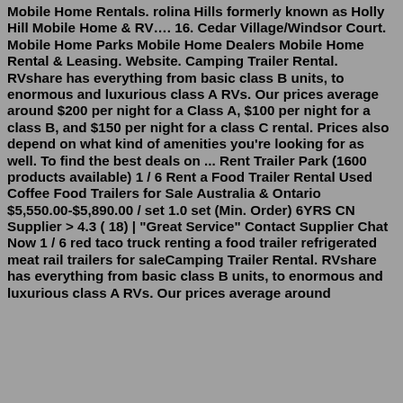Mobile Home Rentals. rolina Hills formerly known as Holly Hill Mobile Home & RV…. 16. Cedar Village/Windsor Court. Mobile Home Parks Mobile Home Dealers Mobile Home Rental & Leasing. Website. Camping Trailer Rental. RVshare has everything from basic class B units, to enormous and luxurious class A RVs. Our prices average around $200 per night for a Class A, $100 per night for a class B, and $150 per night for a class C rental. Prices also depend on what kind of amenities you're looking for as well. To find the best deals on ... Rent Trailer Park (1600 products available) 1 / 6 Rent a Food Trailer Rental Used Coffee Food Trailers for Sale Australia & Ontario $5,550.00-$5,890.00 / set 1.0 set (Min. Order) 6YRS CN Supplier > 4.3 ( 18) | "Great Service" Contact Supplier Chat Now 1 / 6 red taco truck renting a food trailer refrigerated meat rail trailers for saleCamping Trailer Rental. RVshare has everything from basic class B units, to enormous and luxurious class A RVs. Our prices average around $200 per night for a Class A, $100 per night for a class